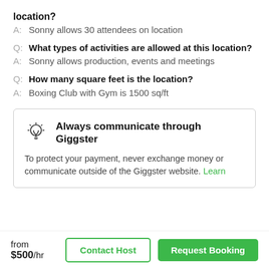location?
A: Sonny allows 30 attendees on location
Q: What types of activities are allowed at this location?
A: Sonny allows production, events and meetings
Q: How many square feet is the location?
A: Boxing Club with Gym is 1500 sq/ft
Always communicate through Giggster
To protect your payment, never exchange money or communicate outside of the Giggster website. Learn
from $500/hr
Contact Host
Request Booking